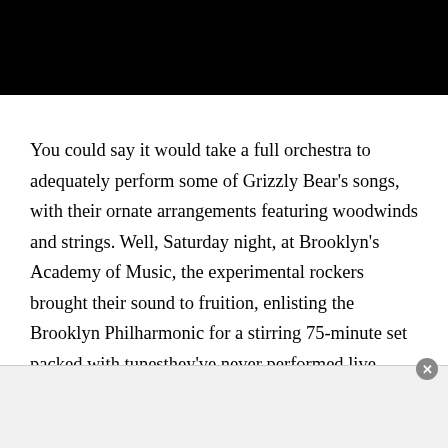You could say it would take a full orchestra to adequately perform some of Grizzly Bear's songs, with their ornate arrangements featuring woodwinds and strings. Well, Saturday night, at Brooklyn's Academy of Music, the experimental rockers brought their sound to fruition, enlisting the Brooklyn Philharmonic for a stirring 75-minute set packed with tunesthey've never performed live, including some off their much-anticipated third